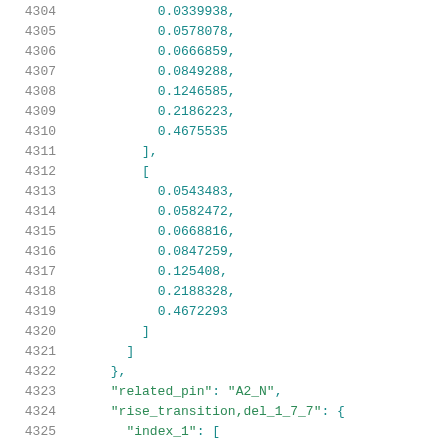Code listing lines 4304-4325 showing numeric array data and JSON keys related_pin and rise_transition,del_1_7_7